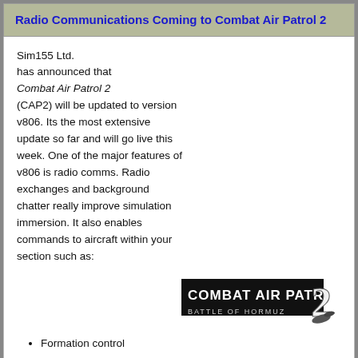Radio Communications Coming to Combat Air Patrol 2
Sim155 Ltd. has announced that Combat Air Patrol 2 (CAP2) will be updated to version v806. Its the most extensive update so far and will go live this week. One of the major features of v806 is radio comms. Radio exchanges and background chatter really improve simulation immersion. It also enables commands to aircraft within your section such as:
[Figure (logo): Combat Air Patrol 2 - Battle of Hormuz logo in black and white]
Formation control
Target assignment (A-A & A-G)
Report State
Navigation
Mission abort
Return to base
Recover/land on carrier
Emcon (Emissions Control)